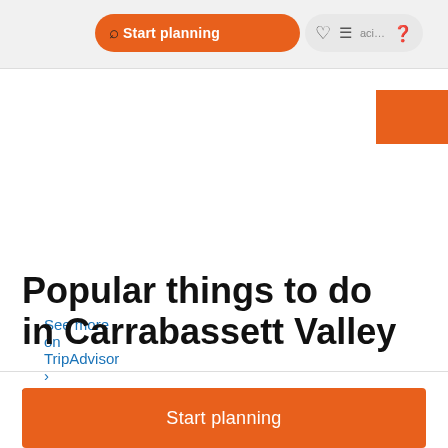Start planning  activities
See more on TripAdvisor ›
Popular things to do in Carrabassett Valley
[Figure (screenshot): Broken image placeholder for Sugarloaf Mountain]
[Figure (screenshot): Broken image placeholder for The Rack]
Start planning